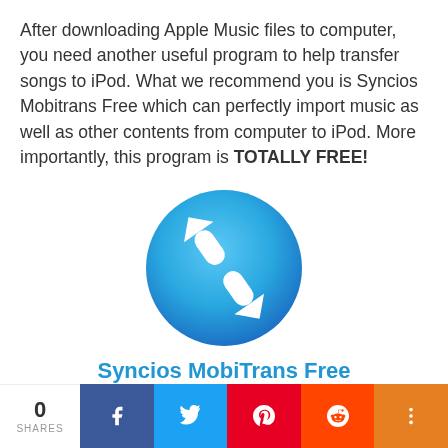After downloading Apple Music files to computer, you need another useful program to help transfer songs to iPod. What we recommend you is Syncios Mobitrans Free which can perfectly import music as well as other contents from computer to iPod. More importantly, this program is TOTALLY FREE!
[Figure (logo): Syncios MobiTrans Free app logo — a blue circular icon with two white curved transfer arrows]
Syncios MobiTrans Free
Syncios MobiTrans Free is a free mobile
0 SHARES | Facebook | Twitter | Pinterest | Reddit | More